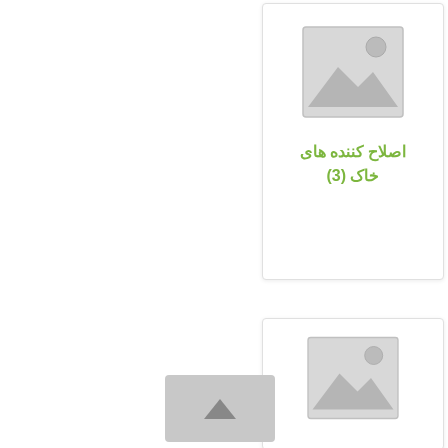[Figure (other): Product card with placeholder image icon and Persian text label 'اصلاح کننده های خاک (3)' in green]
[Figure (other): Partial product card with placeholder image icon, bottom half cut off]
[Figure (other): Gray scroll-to-top button with upward arrow chevron]